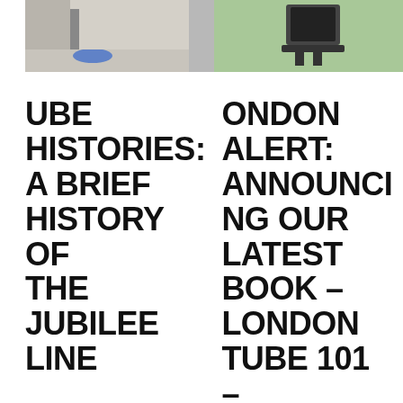[Figure (photo): Left photo: interior of a London Underground station with blue social distancing circle on the floor]
[Figure (photo): Right photo: London Underground related item on a green background]
TUBE HISTORIES: A BRIEF HISTORY OF THE JUBILEE LINE
LONDON ALERT: ANNOUNCING OUR LATEST BOOK – LONDON TUBE 101 – HISTORY, CULTURE, AND TRAVEL